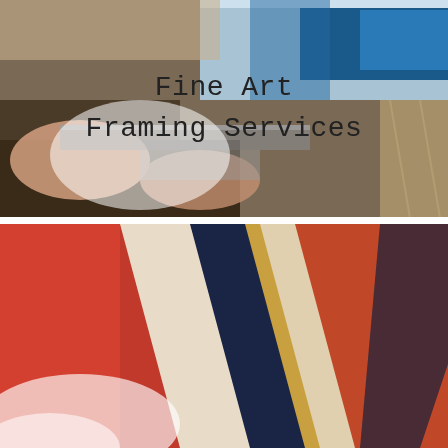[Figure (photo): Hands working on fine art framing, holding a picture frame corner against a canvas with blue abstract artwork, placed on a textured burlap surface. Text overlay reads 'Fine Art Framing Services'.]
[Figure (photo): Close-up of colorful mount/mat board samples fanned out showing red, navy, white, and orange colors. Text overlay reads 'Mount Cutting Services'.]